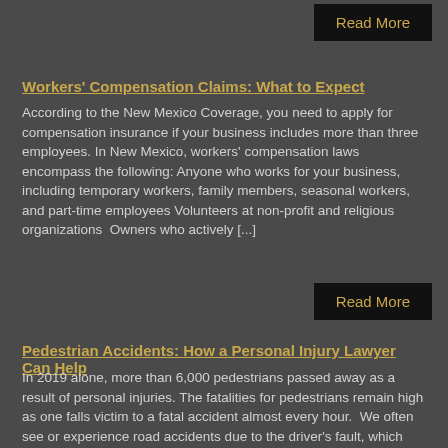Read More
Workers' Compensation Claims: What to Expect
According to the New Mexico Coverage, you need to apply for compensation insurance if your business includes more than three employees. In New Mexico, workers' compensation laws encompass the following: Anyone who works for your business, including temporary workers, family members, seasonal workers, and part-time employees Volunteers at non-profit and religious organizations  Owners who actively [...]
Read More
Pedestrian Accidents: How a Personal Injury Lawyer Can Help
In 2019 alone, more than 6,000 pedestrians passed away as a result of personal injuries. The fatalities for pedestrians remain high as one falls victim to a fatal accident almost every hour.  We often see or experience road accidents due to the driver's fault, which could cost someone's life. These problems can include overspeeding, drunk [...]
Read More